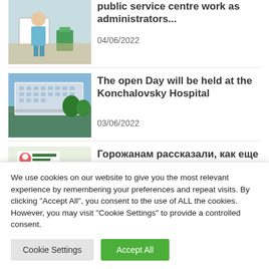[Figure (photo): Person in medical/service center environment with white counter and green waste bin]
public service centre work as administrators...
04/06/2022
[Figure (photo): Exterior of Konchalovsky Hospital building, multi-story white building with parking area]
The open Day will be held at the Konchalovsky Hospital
03/06/2022
[Figure (photo): Exterior of Здоровая Москва pavilion with green logo signage and people at entrance]
Горожанам рассказали, как еще быстрее пройти обследования в павильонах «Здоровая Москва»
We use cookies on our website to give you the most relevant experience by remembering your preferences and repeat visits. By clicking "Accept All", you consent to the use of ALL the cookies. However, you may visit "Cookie Settings" to provide a controlled consent.
Cookie Settings
Accept All